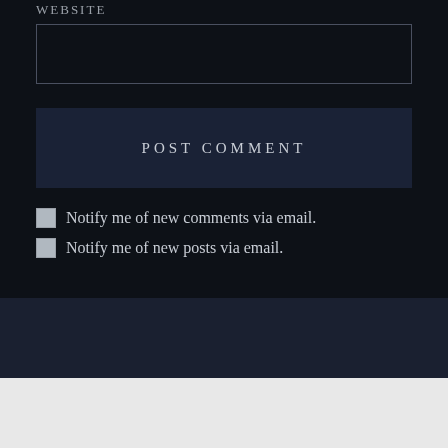WEBSITE
POST COMMENT
Notify me of new comments via email.
Notify me of new posts via email.
Advertisements
Advertisements